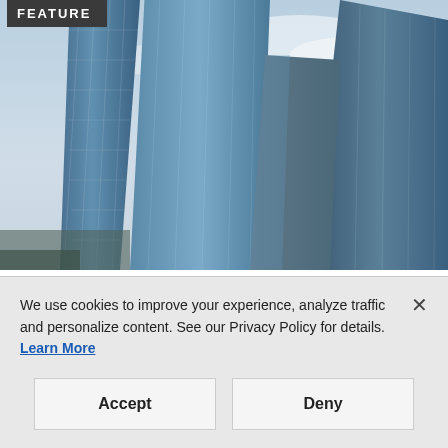[Figure (photo): Upward-looking view of modern glass skyscrapers against a cloudy sky with a FEATURE badge overlay in the top-left corner]
CUSTOMER EXPERIENCE
Google+ Adds New Features
We use cookies to improve your experience, analyze traffic and personalize content. See our Privacy Policy for details. Learn More
Accept
Deny